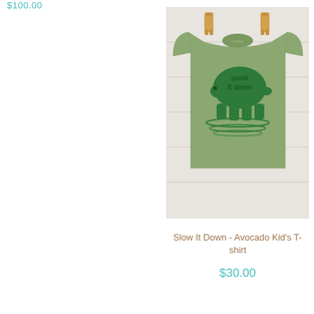$100.00
[Figure (photo): A green children's t-shirt with a turtle graphic printed on it reading 'Slow It Down', hung on a wooden plank wall with wooden clothespins]
Slow It Down - Avocado Kid's T-shirt
$30.00